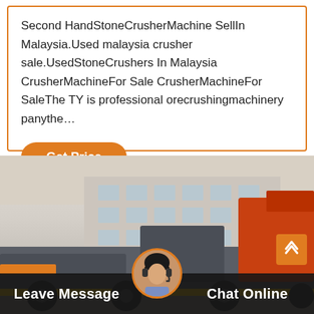Second HandStoneCrusherMachine SellIn Malaysia.Used malaysia crusher sale.UsedStoneCrushers In Malaysia CrusherMachineFor Sale CrusherMachineFor SaleThe TY is professional orecrushingmachinery panythe…
[Figure (other): Button labeled 'Get Price' with orange rounded rectangle background]
[Figure (photo): Photo of a large orange and grey mobile stone crusher machine parked in front of an industrial building. A female customer service representative with headset is shown in a circular avatar at the bottom center.]
Leave Message   Chat Online